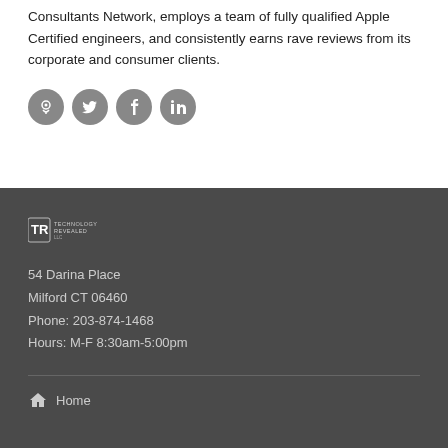Consultants Network, employs a team of fully qualified Apple Certified engineers, and consistently earns rave reviews from its corporate and consumer clients.
[Figure (infographic): Four circular social media icon buttons (Apple/podcast, Twitter, Facebook, LinkedIn) in dark grey]
[Figure (logo): Technology Revealed LLC logo — white stylized TR mark with company name text]
54 Darina Place
Milford CT 06460
Phone: 203-874-1468
Hours: M-F 8:30am-5:00pm
Home